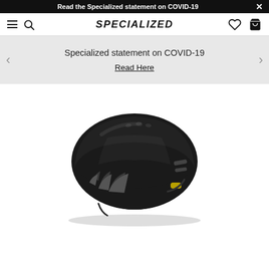Read the Specialized statement on COVID-19
SPECIALIZED
Specialized statement on COVID-19
Read Here
[Figure (photo): Black Specialized aerodynamic cycling helmet (matte black finish with ventilation slots and MIPS system) on a white background]